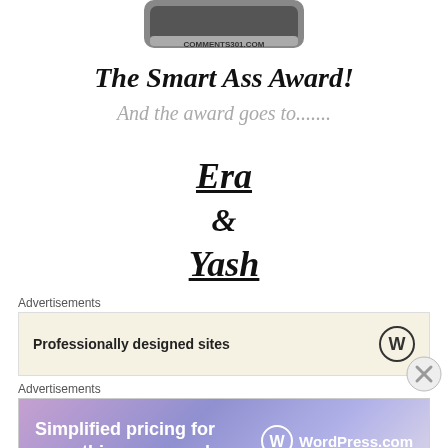[Figure (screenshot): Partial image of a badge/device with text COMMENTS301.COM at the top of the page]
The Smart Ass Award!
And the award goes to.......
Era
&
Yash
Advertisements
Professionally designed sites
Advertisements
Simplified pricing for everything you need.
WordPress.com